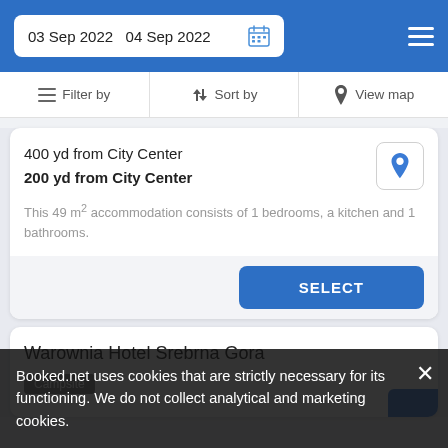03 Sep 2022  04 Sep 2022
Filter by  Sort by  View map
400 yd from City Center
200 yd from City Center
This 49 m² accommodation consists of 1 bedrooms, a kitchen and 1 bathrooms.
SELECT
Warownia Hotel Srebrna Gora
Campsite
Booked.net uses cookies that are strictly necessary for its functioning. We do not collect analytical and marketing cookies.